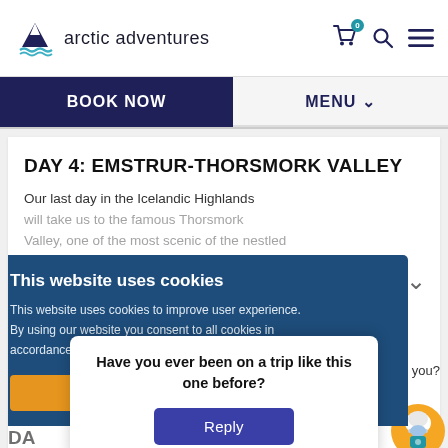arctic adventures
BOOK NOW
MENU
DAY 4: EMSTRUR-THORSMORK VALLEY
Our last day in the Icelandic Highlands will take us to the famous Thorsmork Valley, one of the most scenic of the nestled between two massive glaciers. We will be able to walk through huge valleys, which see an endless ocean...)
This website uses cookies
This website uses cookies to improve user experience. By using our website you consent to all cookies in accordance with our Cookie Policy.
I agree
Have you ever been on a trip like this one before?
Reply
help you?